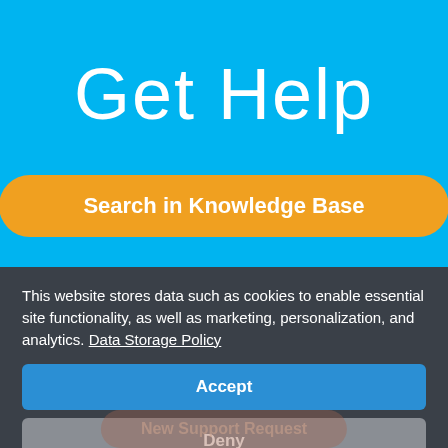Get Help
Search in Knowledge Base
This website stores data such as cookies to enable essential site functionality, as well as marketing, personalization, and analytics. Data Storage Policy
Accept
Deny
New Support Request